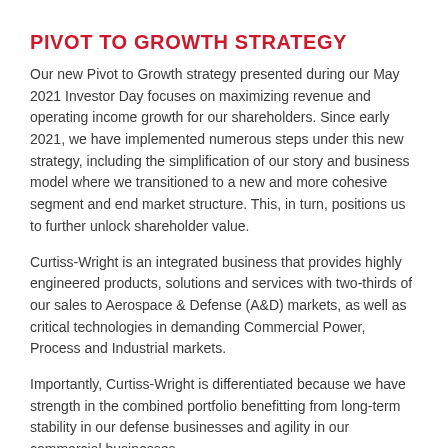PIVOT TO GROWTH STRATEGY
Our new Pivot to Growth strategy presented during our May 2021 Investor Day focuses on maximizing revenue and operating income growth for our shareholders. Since early 2021, we have implemented numerous steps under this new strategy, including the simplification of our story and business model where we transitioned to a new and more cohesive segment and end market structure. This, in turn, positions us to further unlock shareholder value.
Curtiss-Wright is an integrated business that provides highly engineered products, solutions and services with two-thirds of our sales to Aerospace & Defense (A&D) markets, as well as critical technologies in demanding Commercial Power, Process and Industrial markets.
Importantly, Curtiss-Wright is differentiated because we have strength in the combined portfolio benefitting from long-term stability in our defense businesses and agility in our commercial businesses.